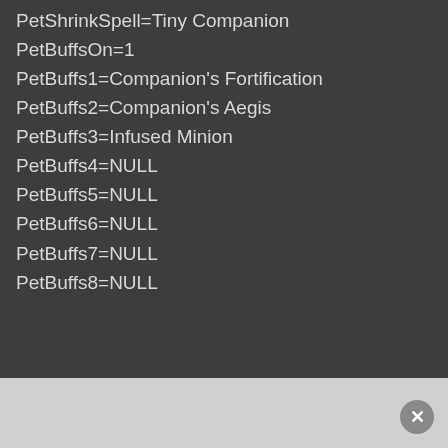PetShrinkSpell=Tiny Companion
PetBuffsOn=1
PetBuffs1=Companion's Fortification
PetBuffs2=Companion's Aegis
PetBuffs3=Infused Minion
PetBuffs4=NULL
PetBuffs5=NULL
PetBuffs6=NULL
PetBuffs7=NULL
PetBuffs8=NULL